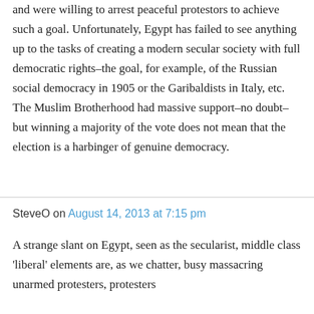and were willing to arrest peaceful protestors to achieve such a goal. Unfortunately, Egypt has failed to see anything up to the tasks of creating a modern secular society with full democratic rights–the goal, for example, of the Russian social democracy in 1905 or the Garibaldists in Italy, etc. The Muslim Brotherhood had massive support–no doubt–but winning a majority of the vote does not mean that the election is a harbinger of genuine democracy.
SteveO on August 14, 2013 at 7:15 pm
A strange slant on Egypt, seen as the secularist, middle class 'liberal' elements are, as we chatter, busy massacring unarmed protesters, protesters